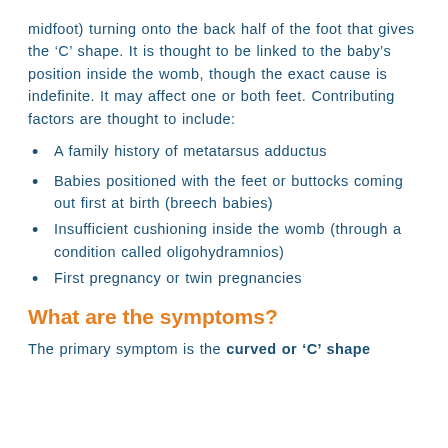midfoot) turning onto the back half of the foot that gives the ‘C’ shape. It is thought to be linked to the baby’s position inside the womb, though the exact cause is indefinite. It may affect one or both feet. Contributing factors are thought to include:
A family history of metatarsus adductus
Babies positioned with the feet or buttocks coming out first at birth (breech babies)
Insufficient cushioning inside the womb (through a condition called oligohydramnios)
First pregnancy or twin pregnancies
What are the symptoms?
The primary symptom is the curved or ‘C’ shape